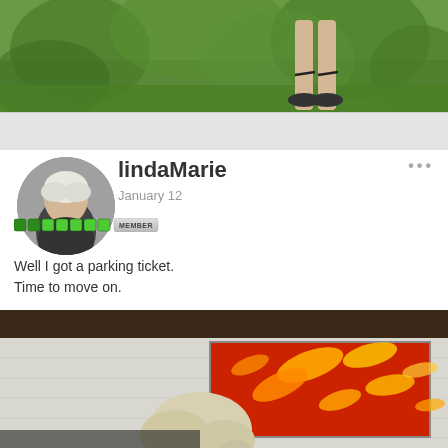[Figure (photo): Top photo showing green garden/grass background with a person's legs and sandaled feet visible]
[Figure (photo): User avatar/profile photo of a person with white/grey hair, overlaid with green member rank bars and MEMBER badge]
lindaMarie
January 12
Well I got a parking ticket.
Time to move on.
[Figure (photo): Photo of an elderly person with white/grey hair bowed down, sitting in front of a white brick wall with a large red and orange fish painting hanging behind them]